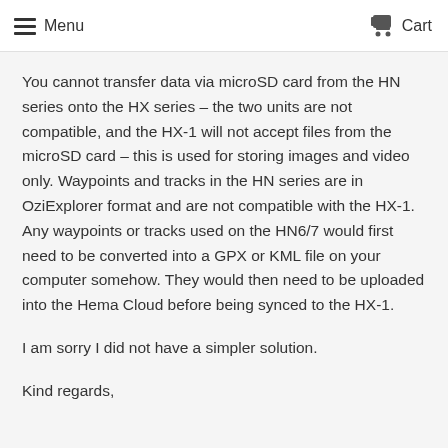Menu  Cart
You cannot transfer data via microSD card from the HN series onto the HX series – the two units are not compatible, and the HX-1 will not accept files from the microSD card – this is used for storing images and video only. Waypoints and tracks in the HN series are in OziExplorer format and are not compatible with the HX-1. Any waypoints or tracks used on the HN6/7 would first need to be converted into a GPX or KML file on your computer somehow. They would then need to be uploaded into the Hema Cloud before being synced to the HX-1.
I am sorry I did not have a simpler solution.
Kind regards,